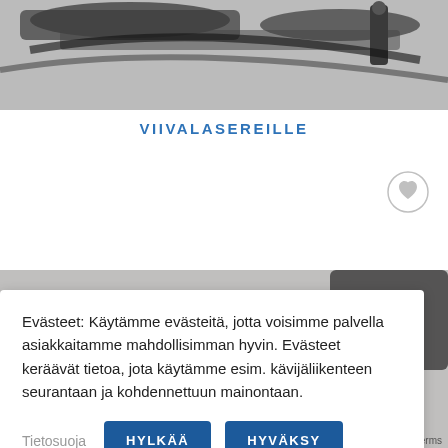[Figure (photo): Product cables/connectors photo at top of page]
VIIVALASEREILLE
[Figure (photo): Product items photo at bottom of page]
Evästeet: Käytämme evästeitä, jotta voisimme palvella asiakkaitamme mahdollisimman hyvin. Evästeet keräävät tietoa, jota käytämme esim. kävijäliikenteen seurantaan ja kohdennettuun mainontaan.
Tietosuoja
HYLKÄÄ
HYVÄKSY
Privacy · Terms